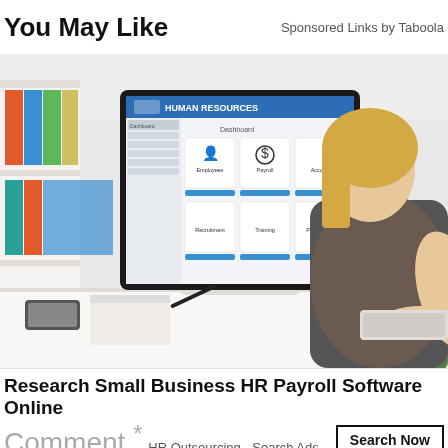You May Like | Sponsored Links by Taboola
[Figure (photo): Blonde woman sitting at desk using computer displaying Human Resources dashboard software with modules: Employees, Payroll, Accounts, Recruitment, Training, Performance. Office shelves with colourful binders visible on left.]
Research Small Business HR Payroll Software Online
Comment *
HR Outsourcing - Search Ads
Search Now